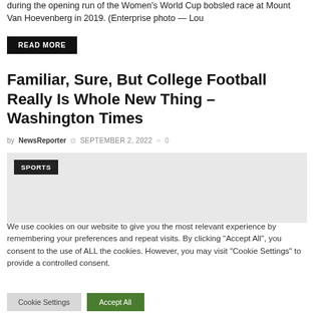during the opening run of the Women's World Cup bobsled race at Mount Van Hoevenberg in 2019. (Enterprise photo — Lou
READ MORE
Familiar, Sure, But College Football Really Is Whole New Thing – Washington Times
by NewsReporter  SEPTEMBER 2, 2022  0
[Figure (photo): Gray image placeholder with SPORTS tag in black]
We use cookies on our website to give you the most relevant experience by remembering your preferences and repeat visits. By clicking "Accept All", you consent to the use of ALL the cookies. However, you may visit "Cookie Settings" to provide a controlled consent.
Cookie Settings  Accept All